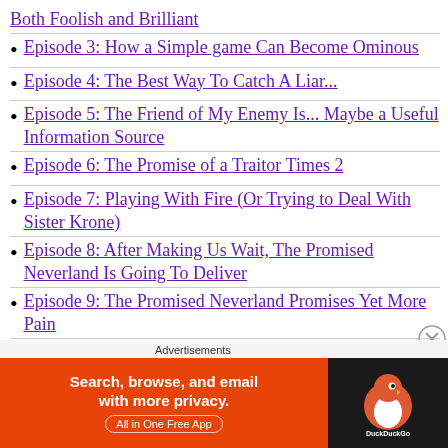Both Foolish and Brilliant
Episode 3: How a Simple game Can Become Ominous
Episode 4: The Best Way To Catch A Liar...
Episode 5: The Friend of My Enemy Is... Maybe a Useful Information Source
Episode 6: The Promise of a Traitor Times 2
Episode 7: Playing With Fire (Or Trying to Deal With Sister Krone)
Episode 8: After Making Us Wait, The Promised Neverland Is Going To Deliver
Episode 9: The Promised Neverland Promises Yet More Pain
Episode 10: Where to Without The Promise of Tomorrow?
Episode 11: Someone Tell Ray That Self
Advertisements
[Figure (screenshot): DuckDuckGo advertisement banner: orange background with text 'Search, browse, and email with more privacy. All in One Free App' and DuckDuckGo duck logo on black background]